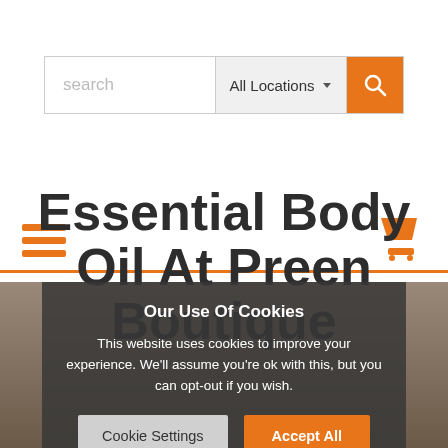[Figure (screenshot): Search bar with text input 'search', 'All Locations' dropdown, and orange search button with magnifying glass icon]
[Figure (screenshot): Navigation bar with orange hamburger menu icon on left and orange shopping cart icon on right, with orange horizontal rule below]
Essential Body Oil At Preen Boutique
Our Use Of Cookies
This website uses cookies to improve your experience. We'll assume you're ok with this, but you can opt-out if you wish.
[Figure (screenshot): Cookie consent overlay with 'Cookie Settings' and 'Accept All' buttons]